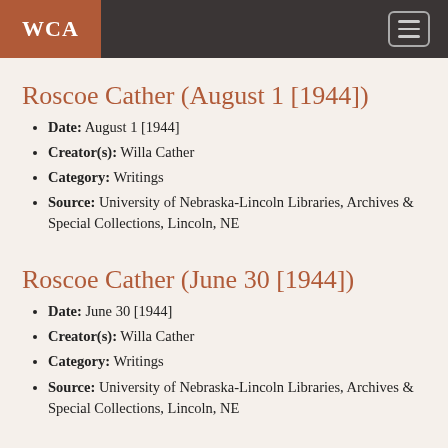WCA
Roscoe Cather (August 1 [1944])
Date: August 1 [1944]
Creator(s): Willa Cather
Category: Writings
Source: University of Nebraska-Lincoln Libraries, Archives & Special Collections, Lincoln, NE
Roscoe Cather (June 30 [1944])
Date: June 30 [1944]
Creator(s): Willa Cather
Category: Writings
Source: University of Nebraska-Lincoln Libraries, Archives & Special Collections, Lincoln, NE